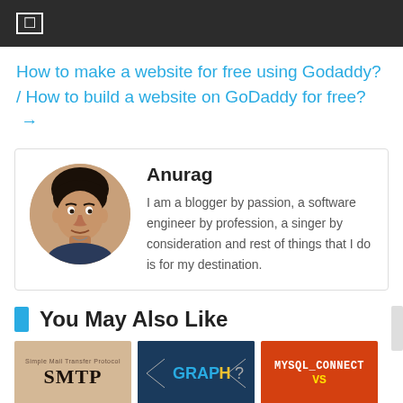☐
How to make a website for free using Godaddy? / How to build a website on GoDaddy for free? →
[Figure (photo): Circular author photo of Anurag, a young man]
Anurag
I am a blogger by passion, a software engineer by profession, a singer by consideration and rest of things that I do is for my destination.
You May Also Like
[Figure (photo): Thumbnail: Simple Mail Transfer Protocol SMTP book cover on tan background]
[Figure (photo): Thumbnail: GRAPH? text on dark blue background]
[Figure (photo): Thumbnail: MYSQL_CONNECT VS text on red/orange background]